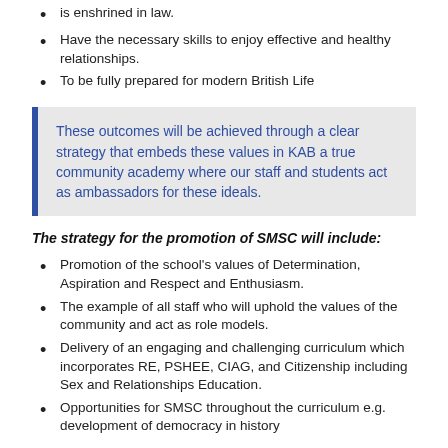is enshrined in law.
Have the necessary skills to enjoy effective and healthy relationships.
To be fully prepared for modern British Life
These outcomes will be achieved through a clear strategy that embeds these values in KAB a true community academy where our staff and students act as ambassadors for these ideals.
The strategy for the promotion of SMSC will include:
Promotion of the school's values of Determination, Aspiration and Respect and Enthusiasm.
The example of all staff who will uphold the values of the community and act as role models.
Delivery of an engaging and challenging curriculum which incorporates RE, PSHEE, CIAG, and Citizenship including Sex and Relationships Education.
Opportunities for SMSC throughout the curriculum e.g. development of democracy in history